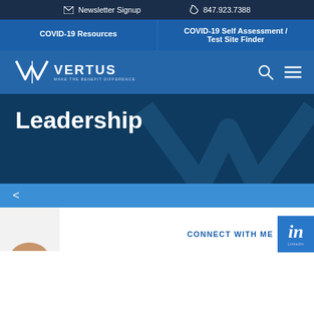Newsletter Signup   847.923.7388
COVID-19 Resources
COVID-19 Self Assessment / Test Site Finder
[Figure (logo): Vertus logo with chevron V mark and tagline MAKE THE BENEFIT DIFFERENCE]
Leadership
<
CONNECT WITH ME
[Figure (logo): LinkedIn 'in' button icon]